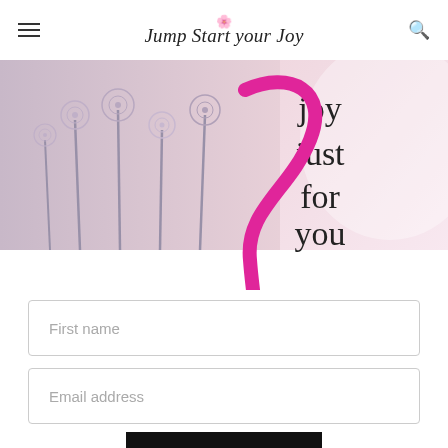Jump Start Your Joy
[Figure (illustration): Promotional image for 'Jump Start Your Joy' website showing a soft floral/nature background on the left half and text 'joy just for you' on the right with a large pink decorative arrow pointing downward.]
First name
Email address